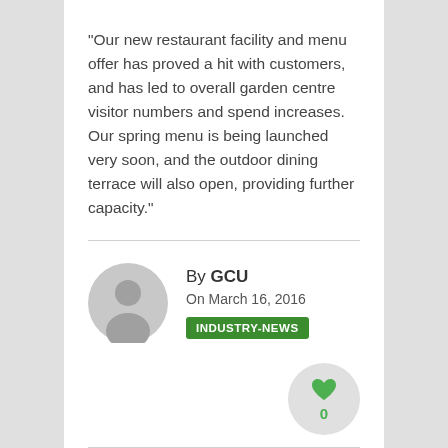“Our new restaurant facility and menu offer has proved a hit with customers, and has led to overall garden centre visitor numbers and spend increases. Our spring menu is being launched very soon, and the outdoor dining terrace will also open, providing further capacity.”
By GCU
On March 16, 2016
INDUSTRY-NEWS
[Figure (illustration): Grey circular avatar placeholder with a person silhouette icon]
[Figure (illustration): Grey circle with a green heart icon and the number 0 below it, representing a like button with zero likes]